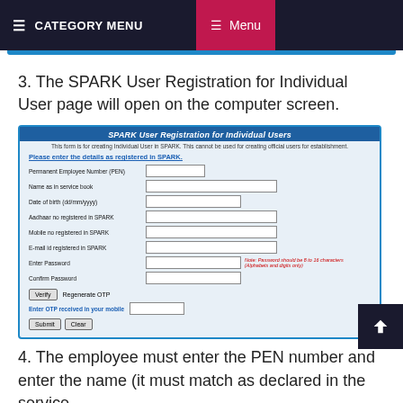≡ CATEGORY MENU   ≡ Menu
3. The SPARK User Registration for Individual User page will open on the computer screen.
[Figure (screenshot): Screenshot of the SPARK User Registration for Individual Users form showing fields: Permanent Employee Number (PEN), Name as in service book, Date of birth (dd/mm/yyyy), Aadhaar no registered in SPARK, Mobile no registered in SPARK, E-mail id registered in SPARK, Enter Password (with note: Password should be 8 to 16 characters (Alphabets and digits only)), Confirm Password, and buttons: Verify, Regenerate OTP, Enter OTP received in your mobile, Submit, Clear]
4. The employee must enter the PEN number and enter the name (it must match as declared in the service